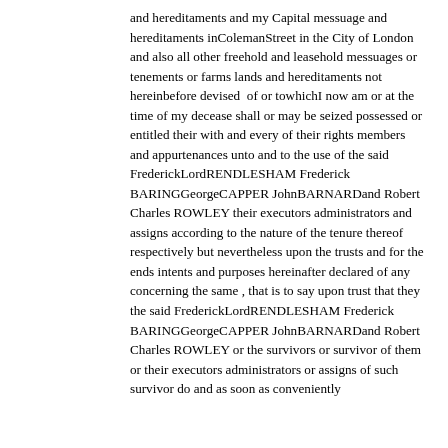and hereditaments and my Capital messuage and hereditaments inColemanStreet in the City of London and also all other freehold and leasehold messuages or tenements or farms lands and hereditaments not hereinbefore devised  of or towhichI now am or at the time of my decease shall or may be seized possessed or entitled their with and every of their rights members and appurtenances unto and to the use of the said FrederickLordRENDLESHAM Frederick BARINGGeorgeCAPPER JohnBARNARDand Robert Charles ROWLEY their executors administrators and assigns according to the nature of the tenure thereof respectively but nevertheless upon the trusts and for the ends intents and purposes hereinafter declared of any concerning the same , that is to say upon trust that they the said FrederickLordRENDLESHAM Frederick BARINGGeorgeCAPPER JohnBARNARDand Robert Charles ROWLEY or the survivors or survivor of them or their executors administrators or assigns of such survivor do and as soon as conveniently